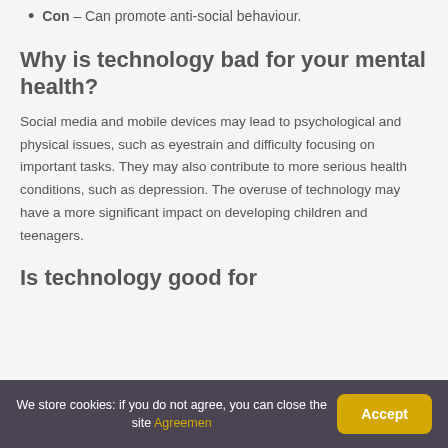Con – Can promote anti-social behaviour.
Why is technology bad for your mental health?
Social media and mobile devices may lead to psychological and physical issues, such as eyestrain and difficulty focusing on important tasks. They may also contribute to more serious health conditions, such as depression. The overuse of technology may have a more significant impact on developing children and teenagers.
Is technology good for
We store cookies: if you do not agree, you can close the site Agreemen